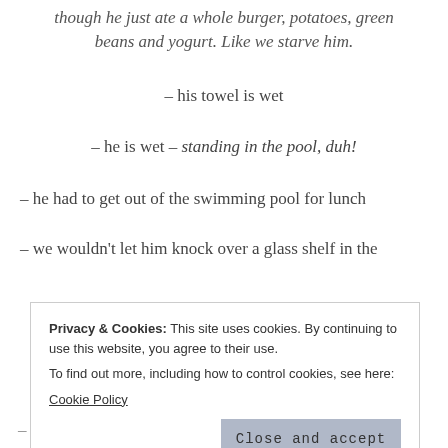though he just ate a whole burger, potatoes, green beans and yogurt. Like we starve him.
– his towel is wet
– he is wet – standing in the pool, duh!
– he had to get out of the swimming pool for lunch
– we wouldn't let him knock over a glass shelf in the
Privacy & Cookies: This site uses cookies. By continuing to use this website, you agree to their use.
To find out more, including how to control cookies, see here:
Cookie Policy
Close and accept
– his Lighting McQueen sandcastle was crushed – by